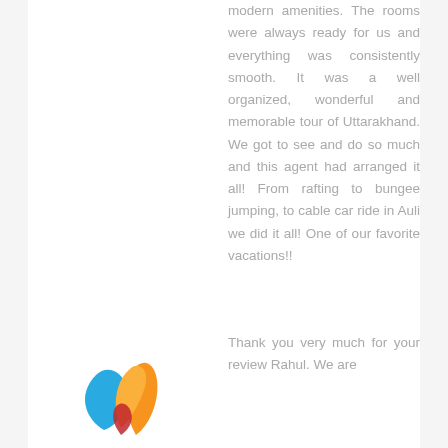modern amenities. The rooms were always ready for us and everything was consistently smooth. It was a well organized, wonderful and memorable tour of Uttarakhand. We got to see and do so much and this agent had arranged it all! From rafting to bungee jumping, to cable car ride in Auli we did it all! One of our favorite vacations!!
[Figure (logo): Colorful logo with blue, yellow, and orange leaf/flame shapes]
Thank you very much for your review Rahul. We are